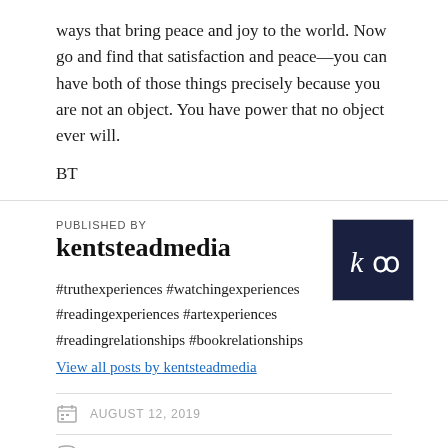ways that bring peace and joy to the world. Now go and find that satisfaction and peace—you can have both of those things precisely because you are not an object. You have power that no object ever will.
BT
PUBLISHED BY
kentsteadmedia
#truthexperiences #watchingexperiences #readingexperiences #artexperiences #readingrelationships #bookrelationships
View all posts by kentsteadmedia
AUGUST 12, 2019
LEAVE A COMMENT